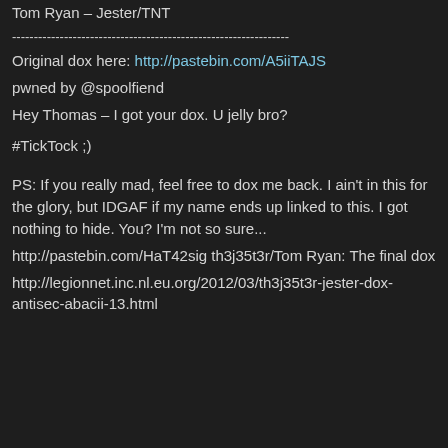Tom Ryan – Jester/TNT
----------------------------------------------------------------
Original dox here: http://pastebin.com/A5iiTAJS
pwned by @spoolfiend
Hey Thomas – I got your dox. U jelly bro?
#TickTock ;)
PS: If you really mad, feel free to dox me back. I ain't in this for the glory, but IDGAF if my name ends up linked to this. I got nothing to hide. You? I'm not so sure...
http://pastebin.com/HaT42sig th3j35t3r/Tom Ryan: The final dox
http://legionnet.inc.nl.eu.org/2012/03/th3j35t3r-jester-dox-antisec-abacii-13.html